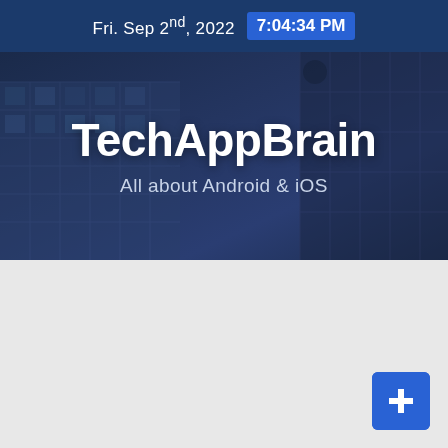Fri. Sep 2nd, 2022  7:04:34 PM
TechAppBrain
All about Android & iOS
[Figure (screenshot): Blue square button with a small icon in the bottom-right corner of the page]